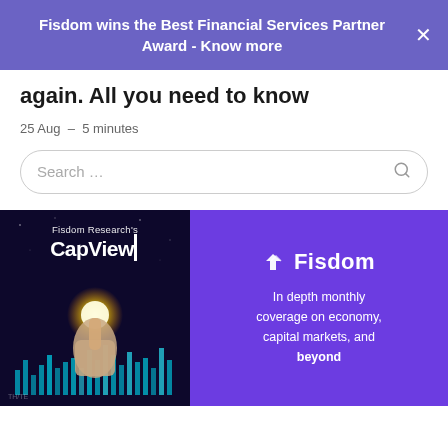Fisdom wins the Best Financial Services Partner Award - Know more
again. All you need to know
25 Aug  -  5 minutes
Search ...
[Figure (illustration): Fisdom CapView promotional banner. Left side shows a book cover with 'Fisdom Research's CapView' text over a dark background with candlestick charts and a glowing hand. Right side shows Fisdom logo and text 'In depth monthly coverage on economy, capital markets, and beyond' on a purple background.]